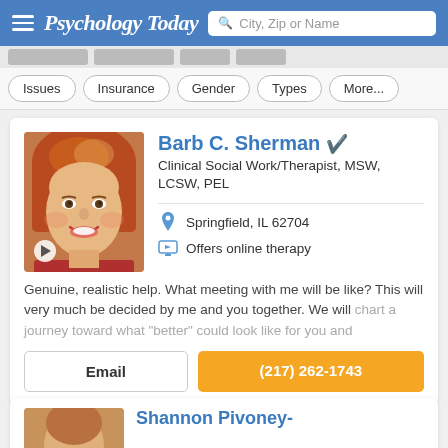Psychology Today — City, Zip or Name search
Issues
Insurance
Gender
Types
More...
Barb C. Sherman
Clinical Social Work/Therapist, MSW, LCSW, PEL
Springfield, IL 62704
Offers online therapy
Genuine, realistic help. What meeting with me will be like? This will very much be decided by me and you together. We will chart a journey toward what "better" could look like for you and
Email
(217) 262-1743
Shannon Pivoney-